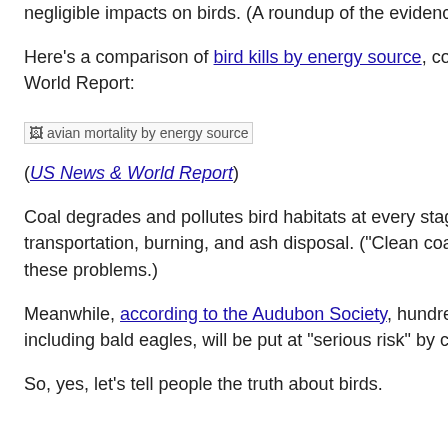negligible impacts on birds. (A roundup of the evidence can be found here.)
Here's a comparison of bird kills by energy source, compiled by US News & World Report:
[Figure (photo): Broken image placeholder labeled 'avian mortality by energy source']
(US News & World Report)
Coal degrades and pollutes bird habitats at every stage of its life: extraction, transportation, burning, and ash disposal. ("Clean coal" would solve none of these problems.)
Meanwhile, according to the Audubon Society, hundreds of species of birds, including bald eagles, will be put at "serious risk" by climate change.
So, yes, let's tell people the truth about birds.